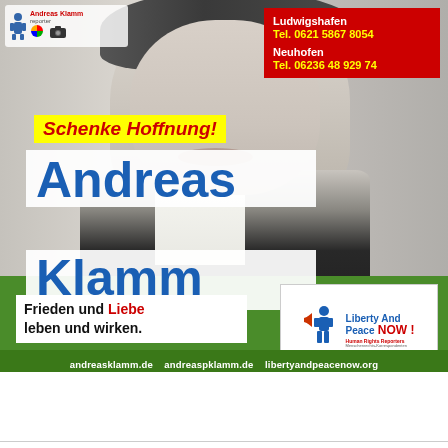[Figure (photo): Portrait photo of Andreas Klamm, a man in a dark jacket with white shirt, background grey/white]
[Figure (logo): Andreas Klamm reporter logo top left with colorful icon]
Ludwigshafen
Tel. 0621 5867 8054
Neuhofen
Tel. 06236 48 929 74
Schenke Hoffnung!
Andreas Klamm
Frieden und Liebe leben und wirken.
[Figure (logo): Liberty And Peace NOW! Human Rights Reporters logo with blue figure holding megaphone]
andreasklamm.de   andreaspklamm.de   libertyandpeacenow.org